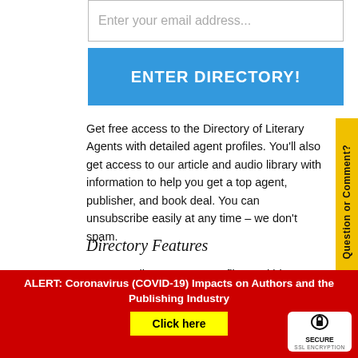Enter your email address...
ENTER DIRECTORY!
Get free access to the Directory of Literary Agents with detailed agent profiles. You'll also get access to our article and audio library with information to help you get a top agent, publisher, and book deal. You can unsubscribe easily at any time – we don't spam.
Question or Comment?
Directory Features
1,000+ literary agent profiles and bios
Searchable by book genre/category
ALERT: Coronavirus (COVID-19) Impacts on Authors and the Publishing Industry
Click here